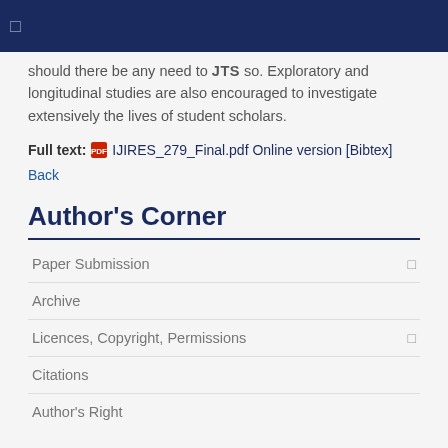□
should there be any need to JTS so. Exploratory and longitudinal studies are also encouraged to investigate extensively the lives of student scholars.
Full text: IJIRES_279_Final.pdf Online version [Bibtex]
Back
Author's Corner
Paper Submission
Archive
Licences, Copyright, Permissions
Citations
Author's Right